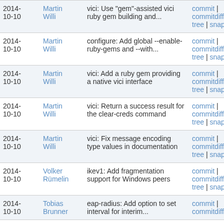| Date | Author | Message | Links |
| --- | --- | --- | --- |
| 2014-10-10 | Martin Willi | vici: Use "gem"-assisted vici ruby gem building and... | commit | commitdiff | tree | snapshot |
| 2014-10-10 | Martin Willi | configure: Add global --enable-ruby-gems and --with... | commit | commitdiff | tree | snapshot |
| 2014-10-10 | Martin Willi | vici: Add a ruby gem providing a native vici interface | commit | commitdiff | tree | snapshot |
| 2014-10-10 | Martin Willi | vici: Return a success result for the clear-creds command | commit | commitdiff | tree | snapshot |
| 2014-10-10 | Martin Willi | vici: Fix message encoding type values in documentation | commit | commitdiff | tree | snapshot |
| 2014-10-10 | Volker Rümelin | ikev1: Add fragmentation support for Windows peers | commit | commitdiff | tree | snapshot |
| 2014-10-10 | Tobias Brunner | eap-radius: Add option to set interval for interim... | commit | commitdiff | |